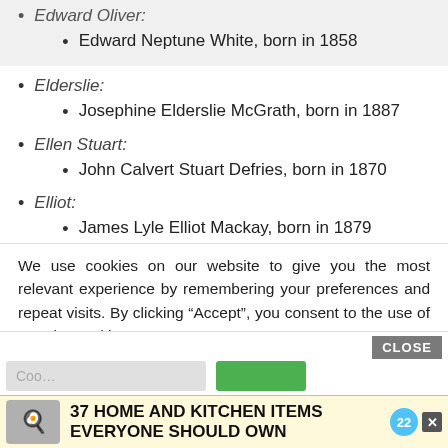Edward Oliver: Edward Neptune White, born in 1858
Elderslie: Josephine Elderslie McGrath, born in 1887
Ellen Stuart: John Calvert Stuart Defries, born in 1870
Elliot: James Lyle Elliot Mackay, born in 1879
We use cookies on our website to give you the most relevant experience by remembering your preferences and repeat visits. By clicking “Accept”, you consent to the use of ALL the cookies.
Do not sell my personal information.
37 HOME AND KITCHEN ITEMS EVERYONE SHOULD OWN